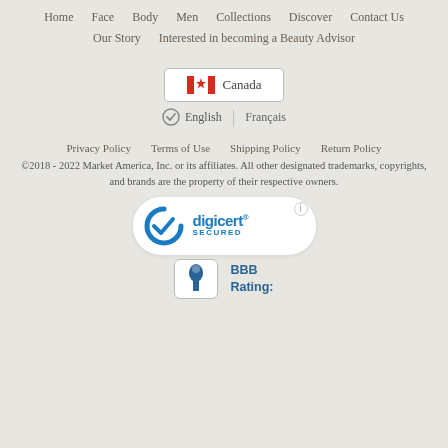Home  Face  Body  Men  Collections  Discover  Contact Us  Our Story  Interested in becoming a Beauty Advisor
[Figure (other): Canada flag button with Canadian maple leaf flag icon and text 'Canada']
✓ English | Français
Privacy Policy  Terms of Use  Shipping Policy  Return Policy
©2018 - 2022 Market America, Inc. or its affiliates. All other designated trademarks, copyrights, and brands are the property of their respective owners.
[Figure (logo): DigiCert Secured badge with blue arc checkmark logo and 'digicert SECURED' text in a white rounded pill shape with info icon]
[Figure (logo): BBB logo in a rounded box with text 'BBB Rating:' in blue]